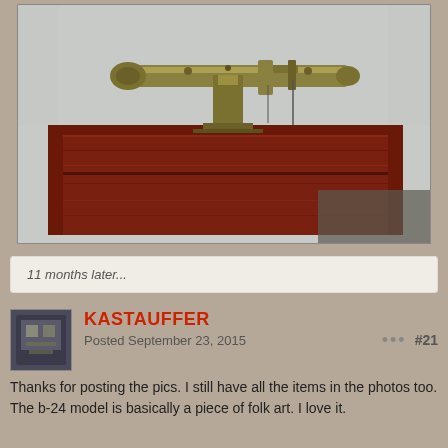[Figure (photo): A bronze/brass mechanical device or instrument mounted on top of a mahogany wooden box, photographed against a light background. The device appears to be an antique sighting or navigational instrument shaped somewhat like an aircraft (b-24 model).]
11 months later...
KASTAUFFER
Posted September 23, 2015
#21
Thanks for posting the pics. I still have all the items in the photos too. The b-24 model is basically a piece of folk art. I love it.